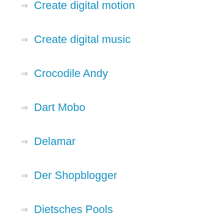Create digital motion
Create digital music
Crocodile Andy
Dart Mobo
Delamar
Der Shopblogger
Dietsches Pools
Digital DJ Tips
DJ Tanith
DJTechtools
Electru
Engineer's Tribune
Eternal Box